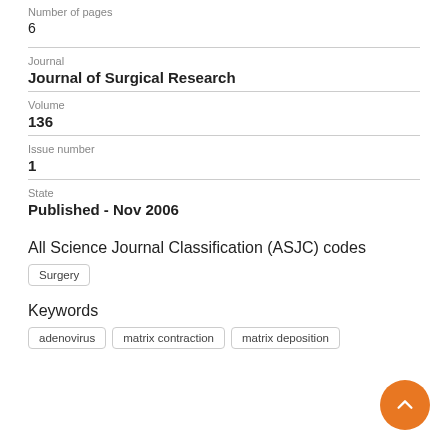Number of pages
6
Journal
Journal of Surgical Research
Volume
136
Issue number
1
State
Published - Nov 2006
All Science Journal Classification (ASJC) codes
Surgery
Keywords
adenovirus
matrix contraction
matrix deposition